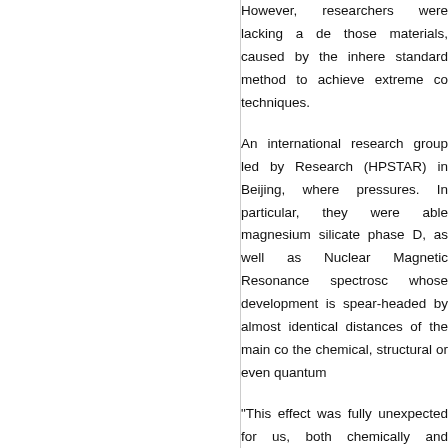However, researchers were lacking a detailed understanding of those materials, caused by the inherent difficulty of using standard method to achieve extreme conditions using various techniques.
An international research group led by Research (HPSTAR) in Beijing, where pressures. In particular, they were able to study magnesium silicate phase D, as well as Nuclear Magnetic Resonance spectroscopy whose development is spear-headed by almost identical distances of the main co the chemical, structural or even quantum
"This effect was fully unexpected for us, both chemically and structurally." said D contradictory results from other high-pre either to structural phase transitions, rea seems to be correct and H-bond symme